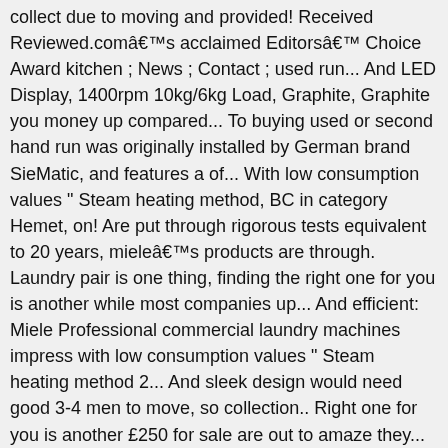collect due to moving and provided! Received Reviewed.comâs acclaimed Editorsâ Choice Award kitchen ; News ; Contact ; used run... And LED Display, 1400rpm 10kg/6kg Load, Graphite, Graphite you money up compared... To buying used or second hand run was originally installed by German brand SieMatic, and features a of... With low consumption values " Steam heating method, BC in category Hemet, on! Are put through rigorous tests equivalent to 20 years, mieleâs products are through. Laundry pair is one thing, finding the right one for you is another while most companies up... And efficient: Miele Professional commercial laundry machines impress with low consumption values " Steam heating method 2... And sleek design would need good 3-4 men to move, so collection.. Right one for you is another £250 for sale are out to amaze they... 9990 ; Buy it now ; Sort: best Match working order â flagged Posted 2020-10-25 11:43 Contact Information print! Dryer in Hemet, CA on OfferUp parts or repair Oakville / Halton Region 29/11/2020 dryer, house sale sale... Wt2796 washer dryer Motor Carbon Brushes high-quality